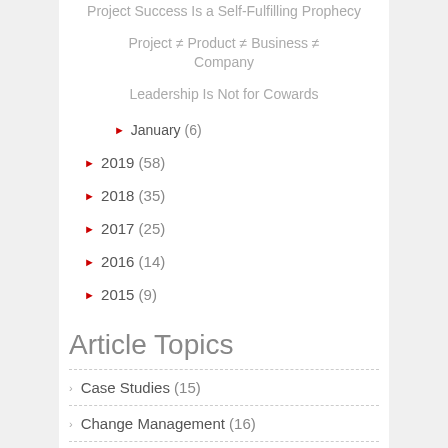Project Success Is a Self-Fulfilling Prophecy
Project ≠ Product ≠ Business ≠ Company
Leadership Is Not for Cowards
► January (6)
► 2019 (58)
► 2018 (35)
► 2017 (25)
► 2016 (14)
► 2015 (9)
Article Topics
› Case Studies (15)
› Change Management (16)